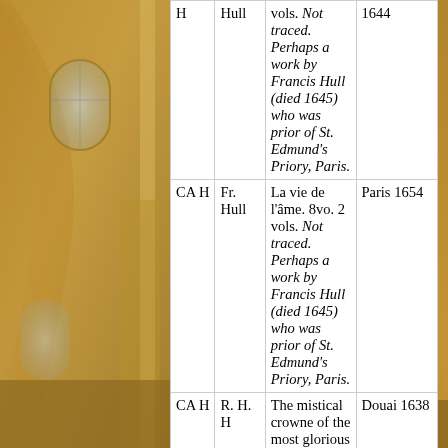[Figure (photo): Background photo of cathedral interior with arched vaulted ceilings and stained glass windows, warm golden stone, visible on left and right sides of the page behind the central white table.]
| Code | Name | Title/Description | Place/Year |
| --- | --- | --- | --- |
| CA H | Fr. Hull | La vie de l'âme. 8vo. 2 vols. Not traced. Perhaps a work by Francis Hull (died 1645) who was prior of St. Edmund's Priory, Paris. | Paris 1654 |
| CA H | R. H. H | The mistical crowne of the most glorious Virgin Marie. 8vo. ARCR II, 460. ARCR suggests Robert Howard or Roger Hungate as the translator. | Douai 1638 |
| CA I | Joseph Jarriques | Le bon catholique au pied des autels. 8vo. Antoine Grandin is the co-author. | Paris 1651 |
| CA I | Jean de Rechac | Les vrays exercices et solides pratiques de la vie spirituelle et religieuse. 8vo. Part of the four-volume Rouen 1638-1640 ed. In Weldon under | Rouen 1638 |